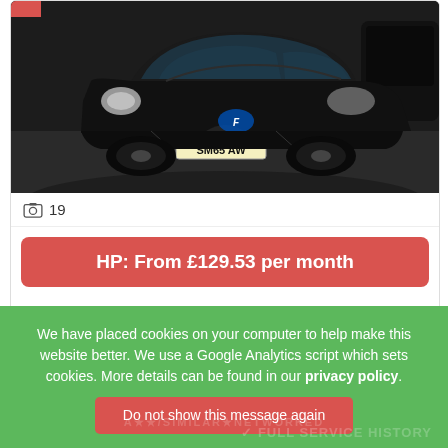[Figure (photo): Black Ford Fiesta car photographed from front-left angle in a dealership or garage setting. Registration plate reads SM65 AW. Another dark car partially visible on the right.]
19
HP: From £129.53 per month
2015 (65)
62,662 miles
Manual
Black
We have placed cookies on your computer to help make this website better. We use a Google Analytics script which sets cookies. More details can be found in our privacy policy.
Do not show this message again